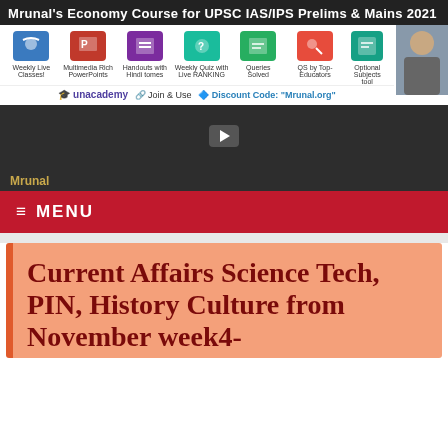[Figure (screenshot): Mrunal's Economy Course for UPSC IAS/IPS Prelims & Mains 2021 banner ad with icons for Weekly Live Classes, Multimedia Rich PowerPoints, Handouts with Hindi tones, Weekly Quiz with Live RANKING, Queries Solved, QS by Top Educators, Optional Subjects tool, and Unacademy branding with discount code]
Mrunal
≡ MENU
Current Affairs Science Tech, PIN, History Culture from November week4-